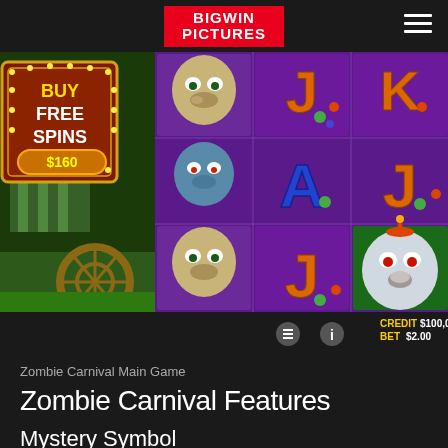BIGWIN PICTURES
[Figure (screenshot): Zombie Carnival slot game screenshot showing main game reels with zombie characters, card symbols (J, K, A), Buy Free Spins button for $160, credit $100,000.00, bet $2.00, and 'HOLD SPACE FOR' text visible]
Zombie Carnival Main Game
Zombie Carnival Features
Mystery Symbol